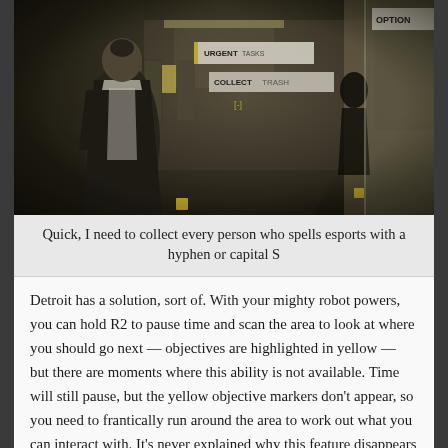[Figure (screenshot): A screenshot from the video game Detroit: Become Human showing a dark indoor scene with a female android character viewed from behind, in a hallway. UI overlay shows 'URGENT TASKS', 'COLLECT TRASH', and '[-]' text. A silhouetted figure appears in the background. Top right shows 'OPTION' menu.]
Quick, I need to collect every person who spells esports with a hyphen or capital S
Detroit has a solution, sort of. With your mighty robot powers, you can hold R2 to pause time and scan the area to look at where you should go next — objectives are highlighted in yellow — but there are moments where this ability is not available. Time will still pause, but the yellow objective markers don't appear, so you need to frantically run around the area to work out what you can interact with. It's never explained why this feature disappears sometimes, but it's usually when its absence increases the tension. How convenient.